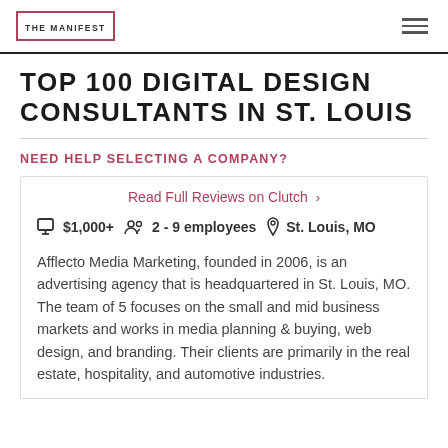THE MANIFEST
TOP 100 DIGITAL DESIGN CONSULTANTS IN ST. LOUIS
NEED HELP SELECTING A COMPANY?
Read Full Reviews on Clutch >
$1,000+  2 - 9 employees  St. Louis, MO
Afflecto Media Marketing, founded in 2006, is an advertising agency that is headquartered in St. Louis, MO. The team of 5 focuses on the small and mid business markets and works in media planning & buying, web design, and branding. Their clients are primarily in the real estate, hospitality, and automotive industries.